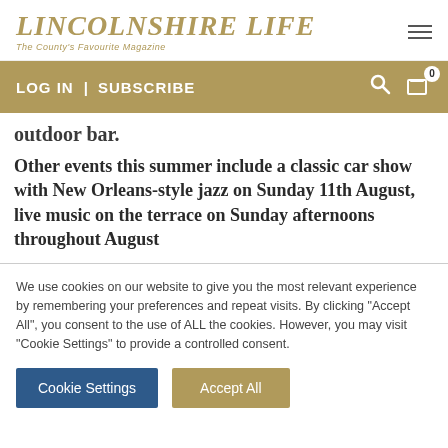LINCOLNSHIRE LIFE — The County's Favourite Magazine
outdoor bar.
Other events this summer include a classic car show with New Orleans-style jazz on Sunday 11th August, live music on the terrace on Sunday afternoons throughout August
We use cookies on our website to give you the most relevant experience by remembering your preferences and repeat visits. By clicking "Accept All", you consent to the use of ALL the cookies. However, you may visit "Cookie Settings" to provide a controlled consent.